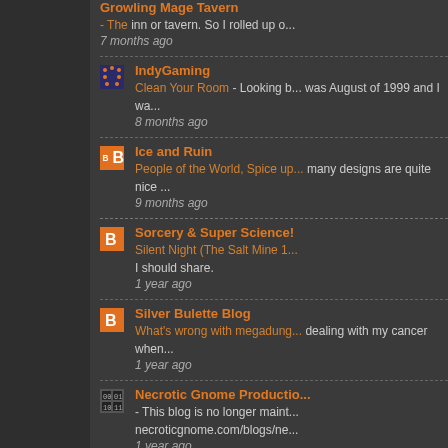Growling Mage Tavern - The inn or tavern. So I rolled up o... 7 months ago
IndyGaming - Clean Your Room - Looking b... was August of 1999 and I wa... 8 months ago
Ice and Ruin - People of the World, Spice up... many designs are quite nice ... 9 months ago
Sorcery & Super Science! - Silent Night (The Salt Mine 1... I should share. 1 year ago
Silver Bulette Blog - What's wrong with megadung... dealing with my cancer when... 1 year ago
Necrotic Gnome Productio... - This blog is no longer maint... necroticgnome.com/blogs/ne... 1 year ago
Old Skulling - My RPG Zine Trilogy is...